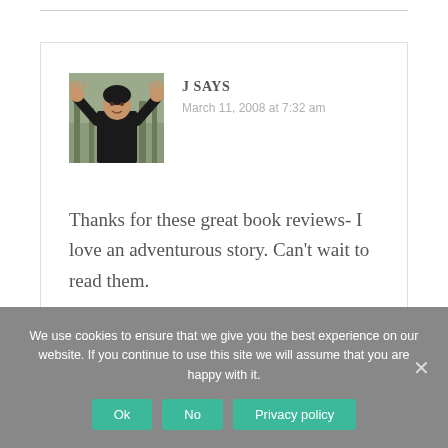[Figure (photo): Profile photo of a young woman with arms raised, wearing a black coat, outdoors with trees in background]
J SAYS
March 11, 2008 at 7:32 am
Thanks for these great book reviews- I love an adventurous story. Can't wait to read them.
We use cookies to ensure that we give you the best experience on our website. If you continue to use this site we will assume that you are happy with it.